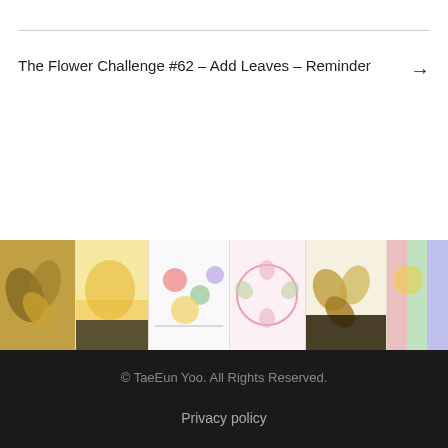The Flower Challenge #62 – Add Leaves – Reminder →
[Figure (photo): A horizontal banner showing a collage of handmade flower cards with various colorful floral designs, including golden leaves, watercolor flowers, and decorative cards arranged side by side.]
© TaeEun Yoo. All Rights Reserved.
Privacy policy